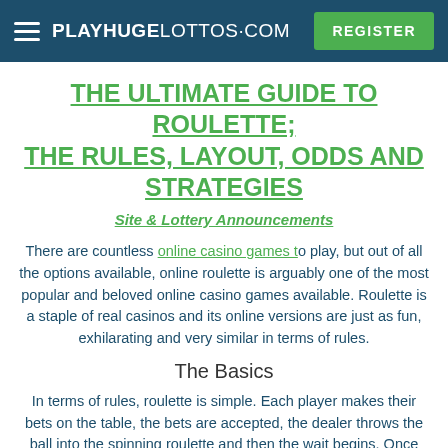PLAYHUGELOTTOS·COM  REGISTER
THE ULTIMATE GUIDE TO ROULETTE; THE RULES, LAYOUT, ODDS AND STRATEGIES
Site & Lottery Announcements
There are countless online casino games to play, but out of all the options available, online roulette is arguably one of the most popular and beloved online casino games available. Roulette is a staple of real casinos and its online versions are just as fun, exhilarating and very similar in terms of rules.
The Basics
In terms of rules, roulette is simple. Each player makes their bets on the table, the bets are accepted, the dealer throws the ball into the spinning roulette and then the wait begins. Once the ball has stopped, the number it lands on is the